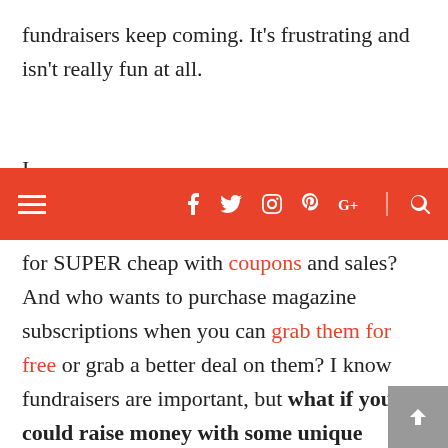fundraisers keep coming. It’s frustrating and isn’t really fun at all.
☰  f  🐦  📷  ℗  G+  |  🔍
for SUPER cheap with coupons and sales? And who wants to purchase magazine subscriptions when you can grab them for free or grab a better deal on them? I know fundraisers are important, but what if you could raise money with some unique fundraiser ideas that are actually fun? (People respond to fun and show up!) That would make life simpler right? And of course, the more people who come, the more money you raise so it’s